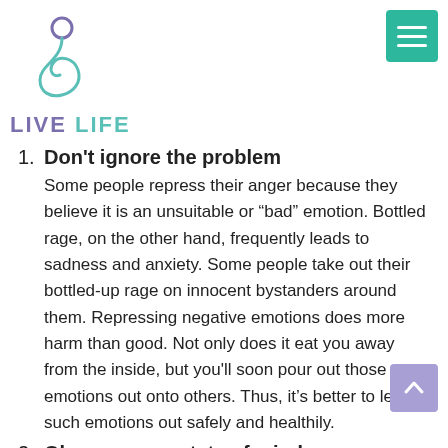[Figure (logo): Live Life logo with spiral/person icon in teal and purple, with text LIVE LIFE]
1. Don't ignore the problem
Some people repress their anger because they believe it is an unsuitable or “bad” emotion. Bottled rage, on the other hand, frequently leads to sadness and anxiety. Some people take out their bottled-up rage on innocent bystanders around them. Repressing negative emotions does more harm than good. Not only does it eat you away from the inside, but you'll soon pour out those emotions out onto others. Thus, it’s better to let such emotions out safely and healthily.
2. Observe your state of mind